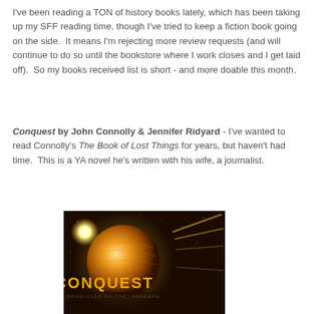I've been reading a TON of history books lately, which has been taking up my SFF reading time, though I've tried to keep a fiction book going on the side.  It means I'm rejecting more review requests (and will continue to do so until the bookstore where I work closes and I get laid off).  So my books received list is short - and more doable this month.
Conquest by John Connolly & Jennifer Ridyard - I've wanted to read Connolly's The Book of Lost Things for years, but haven't had time.  This is a YA novel he's written with his wife, a journalist.
[Figure (photo): Book cover of Conquest: The Chronicles of the Invaders, showing a golden planet/orb with beams of light and sparkles on a dark background, with the title CONQUEST in large gold letters and subtitle THE CHRONICLES OF THE INVADERS below.]